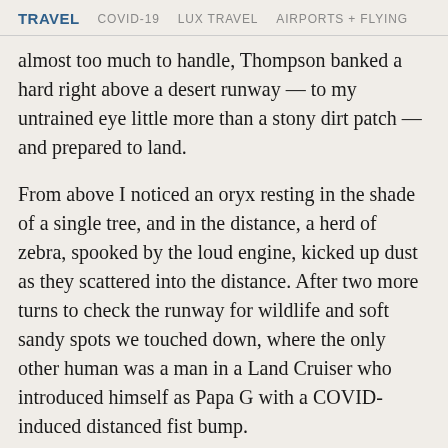TRAVEL   COVID-19   LUX TRAVEL   AIRPORTS + FLYING
almost too much to handle, Thompson banked a hard right above a desert runway — to my untrained eye little more than a stony dirt patch — and prepared to land.
From above I noticed an oryx resting in the shade of a single tree, and in the distance, a herd of zebra, spooked by the loud engine, kicked up dust as they scattered into the distance. After two more turns to check the runway for wildlife and soft sandy spots we touched down, where the only other human was a man in a Land Cruiser who introduced himself as Papa G with a COVID-induced distanced fist bump.
Papa G, whose real name is Gert Tsaobeb, works for